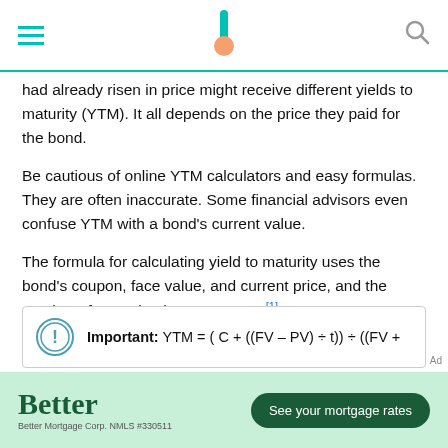[hamburger menu] [Bankrate logo] [search icon]
had already risen in price might receive different yields to maturity (YTM). It all depends on the price they paid for the bond.
Be cautious of online YTM calculators and easy formulas. They are often inaccurate. Some financial advisors even confuse YTM with a bond's current value.
The formula for calculating yield to maturity uses the bond's coupon, face value, and current price, and the number of years it takes to mature. [1]
Important: YTM = ( C + ((FV - PV) ÷ t)) ÷ ((FV +